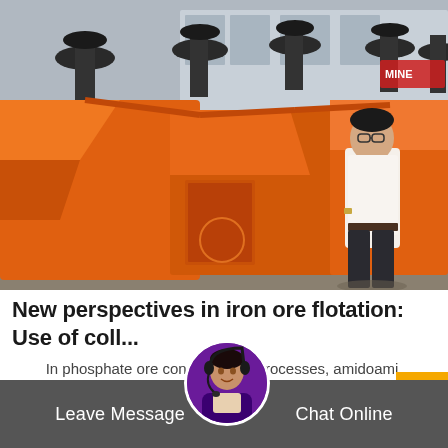[Figure (photo): Orange industrial flotation machines lined up in a yard with a man in white shirt and dark trousers standing beside them. Industrial building in background.]
New perspectives in iron ore flotation: Use of coll...
In phosphate ore concentration processes, amidoami are more tolerant towar hate ions. They are a
[Figure (photo): Customer service avatar: woman wearing headset]
Leave Message
Chat Online